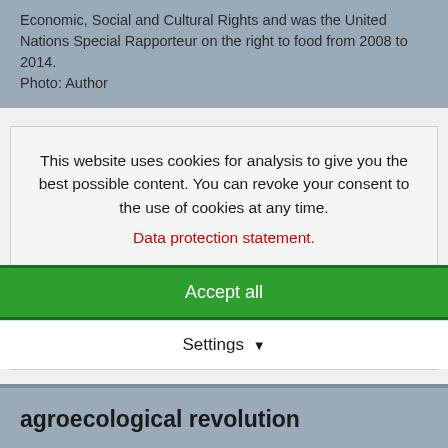Economic, Social and Cultural Rights and was the United Nations Special Rapporteur on the right to food from 2008 to 2014.
Photo: Author
This website uses cookies for analysis to give you the best possible content. You can revoke your consent to the use of cookies at any time.
Data protection statement.
Accept all
Settings
agroecological revolution
Governments and international organisations have mainly taken an interest